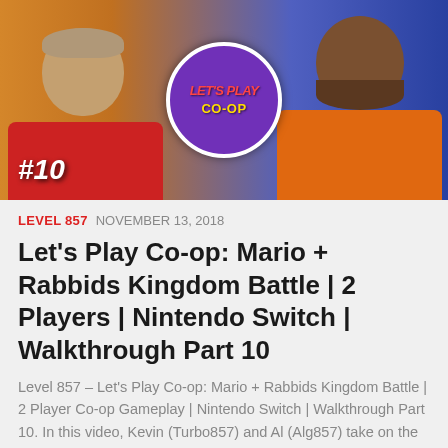[Figure (photo): Thumbnail image for YouTube Let's Play Co-op video #10, showing two men (one in red shirt on left, one in orange shirt on right) with a 'Let's Play Co-op' badge in the center and '#10' text in the bottom left corner.]
LEVEL 857  NOVEMBER 13, 2018
Let's Play Co-op: Mario + Rabbids Kingdom Battle | 2 Players | Nintendo Switch | Walkthrough Part 10
Level 857 – Let's Play Co-op: Mario + Rabbids Kingdom Battle | 2 Player Co-op Gameplay | Nintendo Switch | Walkthrough Part 10. In this video, Kevin (Turbo857) and Al (Alg857) take on the Co-op campaign, Spooky Trails..., and complete...
[Figure (other): Social media sharing buttons: Facebook, Twitter, Pinterest, Tumblr, Reddit, Like button, and a plus button]